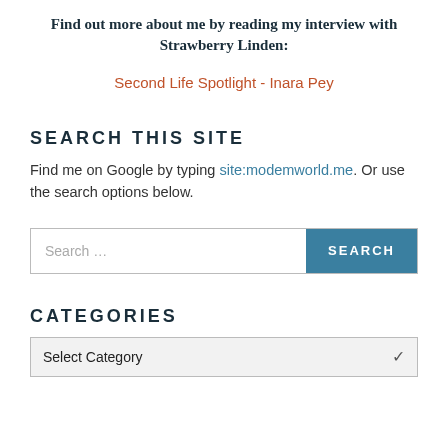Find out more about me by reading my interview with Strawberry Linden:
Second Life Spotlight - Inara Pey
SEARCH THIS SITE
Find me on Google by typing site:modemworld.me. Or use the search options below.
[Figure (screenshot): Search input box with placeholder 'Search ...' and a teal SEARCH button]
CATEGORIES
[Figure (screenshot): Dropdown select with 'Select Category' option and dropdown arrow]